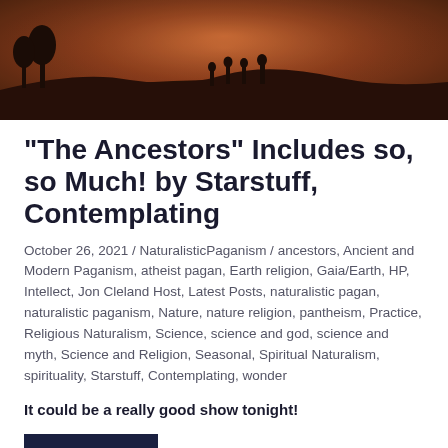[Figure (photo): Dark moody outdoor photo showing silhouettes of people standing on a hill against a reddish-brown atmospheric sky with trees in background]
“The Ancestors” Includes so, so Much! by Starstuff, Contemplating
October 26, 2021 / NaturalisticPaganism / ancestors, Ancient and Modern Paganism, atheist pagan, Earth religion, Gaia/Earth, HP, Intellect, Jon Cleland Host, Latest Posts, naturalistic pagan, naturalistic paganism, Nature, nature religion, pantheism, Practice, Religious Naturalism, Science, science and god, science and myth, Science and Religion, Seasonal, Spiritual Naturalism, spirituality, Starstuff, Contemplating, wonder
It could be a really good show tonight!
READ MORE
[Figure (photo): Dark moody outdoor photo, bottom portion visible — continuation of another article image]